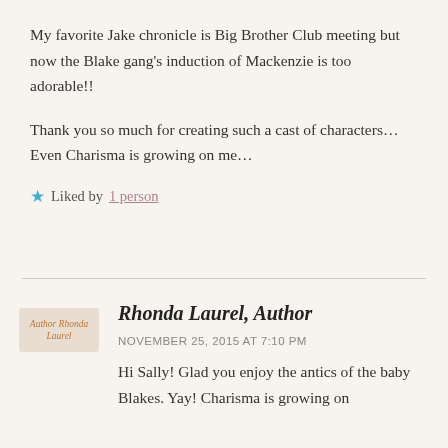My favorite Jake chronicle is Big Brother Club meeting but now the Blake gang's induction of Mackenzie is too adorable!!
Thank you so much for creating such a cast of characters… Even Charisma is growing on me…
★ Liked by 1 person
Rhonda Laurel, Author
NOVEMBER 25, 2015 AT 7:10 PM
Hi Sally! Glad you enjoy the antics of the baby Blakes. Yay! Charisma is growing on